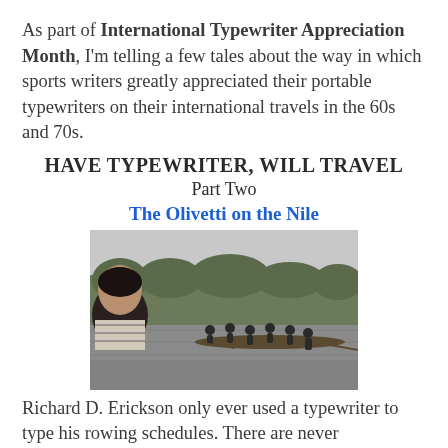As part of International Typewriter Appreciation Month, I'm telling a few tales about the way in which sports writers greatly appreciated their portable typewriters on their international travels in the 60s and 70s.
HAVE TYPEWRITER, WILL TRAVEL
Part Two
The Olivetti on the Nile
[Figure (photo): Black and white photograph of a rowing crew on a river, with a person in the foreground watching from the bank and several rowers in a long boat on the water, with trees in the background.]
Richard D. Erickson only ever used a typewriter to type his rowing schedules. There are never